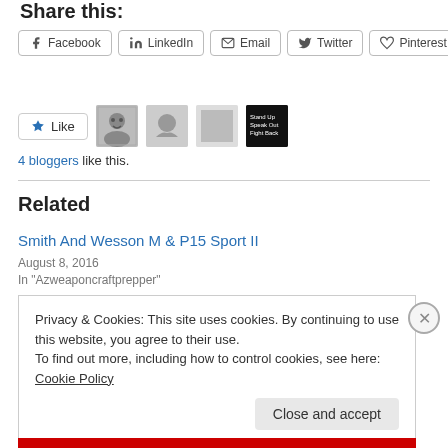Share this:
Facebook  LinkedIn  Email  Twitter  Pinterest
[Figure (other): Like button with star icon and blogger avatar thumbnails]
4 bloggers like this.
Related
Smith And Wesson M & P15 Sport II
August 8, 2016
In "Azweaponcraftprepper"
Privacy & Cookies: This site uses cookies. By continuing to use this website, you agree to their use.
To find out more, including how to control cookies, see here: Cookie Policy
Close and accept